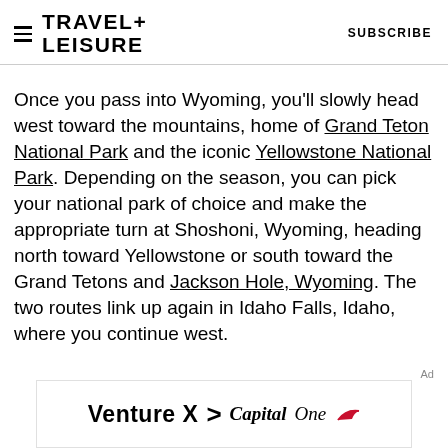TRAVEL+ LEISURE | SUBSCRIBE
Once you pass into Wyoming, you'll slowly head west toward the mountains, home of Grand Teton National Park and the iconic Yellowstone National Park. Depending on the season, you can pick your national park of choice and make the appropriate turn at Shoshoni, Wyoming, heading north toward Yellowstone or south toward the Grand Tetons and Jackson Hole, Wyoming. The two routes link up again in Idaho Falls, Idaho, where you continue west.
[Figure (other): Venture X > Capital One advertisement banner]